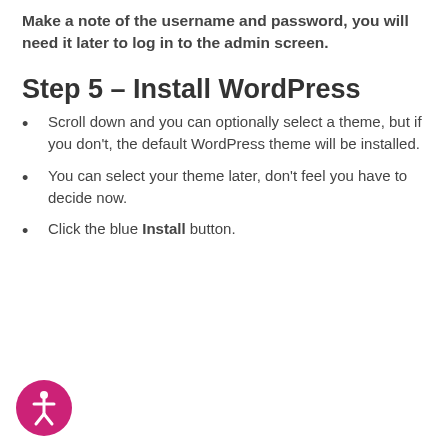Make a note of the username and password, you will need it later to log in to the admin screen.
Step 5 – Install WordPress
Scroll down and you can optionally select a theme, but if you don't, the default WordPress theme will be installed.
You can select your theme later, don't feel you have to decide now.
Click the blue Install button.
[Figure (illustration): Accessibility icon: pink circle with white person/wheelchair symbol]